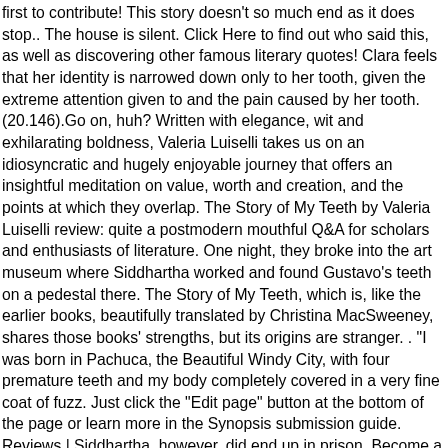first to contribute! This story doesn't so much end as it does stop.. The house is silent. Click Here to find out who said this, as well as discovering other famous literary quotes! Clara feels that her identity is narrowed down only to her tooth, given the extreme attention given to and the pain caused by her tooth. (20.146).Go on, huh? Written with elegance, wit and exhilarating boldness, Valeria Luiselli takes us on an idiosyncratic and hugely enjoyable journey that offers an insightful meditation on value, worth and creation, and the points at which they overlap. The Story of My Teeth by Valeria Luiselli review: quite a postmodern mouthful Q&A for scholars and enthusiasts of literature. One night, they broke into the art museum where Siddhartha worked and found Gustavo's teeth on a pedestal there. The Story of My Teeth, which is, like the earlier books, beautifully translated by Christina MacSweeney, shares those books' strengths, but its origins are stranger. . "I was born in Pachuca, the Beautiful Windy City, with four premature teeth and my body completely covered in a very fine coat of fuzz. Just click the "Edit page" button at the bottom of the page or learn more in the Synopsis submission guide. Reviews | Siddhartha, however, did end up in prison. Become a Member and discover books that entertain, engage & enlighten. . Gustavo and Jacobo went out to get some dentures for Gustavo. When he was young, he and his parents